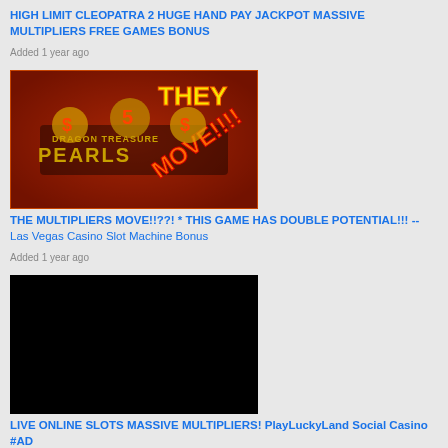HIGH LIMIT CLEOPATRA 2 HUGE HAND PAY JACKPOT MASSIVE MULTIPLIERS FREE GAMES BONUS
Added 1 year ago
[Figure (screenshot): Dragon Treasure Pearls slot machine game thumbnail with text THEY MOVE!!!! overlaid in yellow and red]
THE MULTIPLIERS MOVE!!??! * THIS GAME HAS DOUBLE POTENTIAL!!! -- Las Vegas Casino Slot Machine Bonus
Added 1 year ago
[Figure (screenshot): Black/dark video thumbnail for slot machine video]
LIVE ONLINE SLOTS MASSIVE MULTIPLIERS! PlayLuckyLand Social Casino #AD